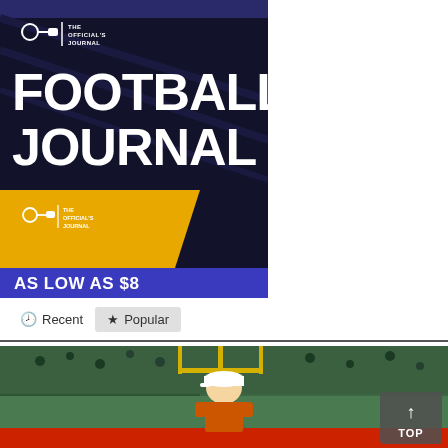[Figure (illustration): Advertisement for Football Journal - The Official's Journal. Dark navy/black background with large white bold text 'FOOTBALL JOURNAL', a referee whistle icon and 'THE OFFICIAL'S JOURNAL' text at top, a gold/yellow angled panel in lower portion with smaller logo, and a purple banner at bottom reading 'AS LOW AS $8'.]
Recent  Popular
[Figure (photo): Photo of a football coach or official in a white cap standing in front of a football goalpost, with a crowded stadium in the background. Red barrier or field element visible at bottom.]